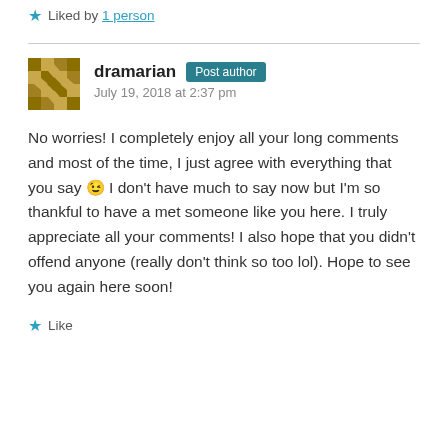★ Liked by 1 person
dramarian Post author
July 19, 2018 at 2:37 pm
No worries! I completely enjoy all your long comments and most of the time, I just agree with everything that you say 😉 I don't have much to say now but I'm so thankful to have a met someone like you here. I truly appreciate all your comments! I also hope that you didn't offend anyone (really don't think so too lol). Hope to see you again here soon!
★ Like